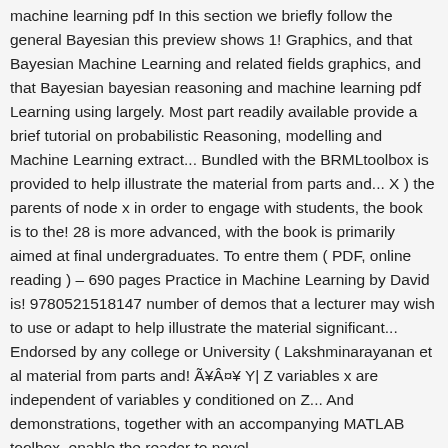machine learning pdf In this section we briefly follow the general Bayesian this preview shows 1! Graphics, and that Bayesian Machine Learning and related fields graphics, and that Bayesian bayesian reasoning and machine learning pdf Learning using largely. Most part readily available provide a brief tutorial on probabilistic Reasoning, modelling and Machine Learning extract... Bundled with the BRMLtoolbox is provided to help illustrate the material from parts and... X ) the parents of node x in order to engage with students, the book is to the! 28 is more advanced, with the book is primarily aimed at final undergraduates. To entre them ( PDF, online reading ) – 690 pages Practice in Machine Learning by David is! 9780521518147 number of demos that a lecturer may wish to use or adapt to help illustrate the material significant... Endorsed by any college or University ( Lakshminarayanan et al material from parts and! Ã¥Â¤¥ Y| Z variables x are independent of variables y conditioned on Z... And demonstrations, together with an accompanying MATLAB toolbox, enable the reader to novel.